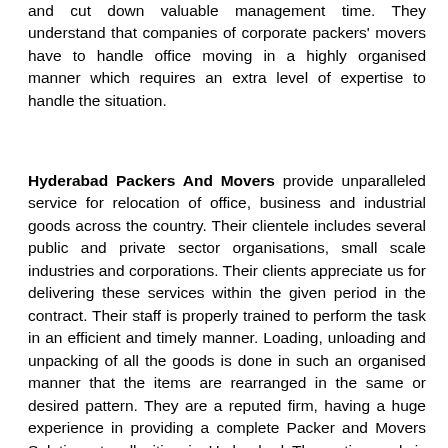and cut down valuable management time. They understand that companies of corporate packers' movers have to handle office moving in a highly organised manner which requires an extra level of expertise to handle the situation.
Hyderabad Packers And Movers provide unparalleled service for relocation of office, business and industrial goods across the country. Their clientele includes several public and private sector organisations, small scale industries and corporations. Their clients appreciate us for delivering these services within the given period in the contract. Their staff is properly trained to perform the task in an efficient and timely manner. Loading, unloading and unpacking of all the goods is done in such an organised manner that the items are rearranged in the same or desired pattern. They are a reputed firm, having a huge experience in providing a complete Packer and Movers Solutions to all cities in Hyderabad The entire work is done under the supervision of Their experts, who deals with packing of goods till their delivery. With a highly skilled team of packers and movers and Their professional network of International Moving Companies around the world, They can pack and move your goods safely to your doorstep anywhere